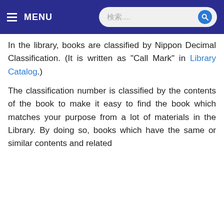MENU   検索....
In the library, books are classified by Nippon Decimal Classification. (It is written as "Call Mark" in Library Catalog.)
The classification number is classified by the contents of the book to make it easy to find the book which matches your purpose from a lot of materials in the Library. By doing so, books which have the same or similar contents and related
This website uses cookies to offer you a better browsing experience.By clicking "Accept" or continuing to use this website, you agree to our use of cookies.
Find more
Accept